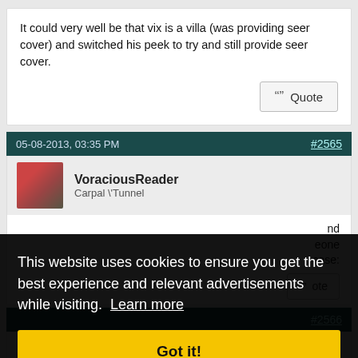It could very well be that vix is a villa (was providing seer cover) and switched his peek to try and still provide seer cover.
Quote
05-08-2013, 03:35 PM
#2565
VoraciousReader
Carpal \' Tunnel
nd eone case:
ote
#2566
bbuber2010
This website uses cookies to ensure you get the best experience and relevant advertisements while visiting. Learn more
Got it!